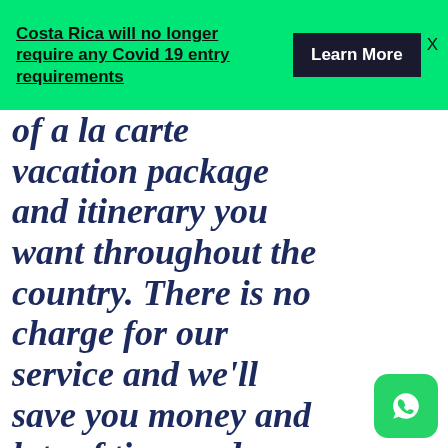Costa Rica will no longer require any Covid 19 entry requirements
of a la carte vacation package and itinerary you want throughout the country. There is no charge for our service and we'll save you money and lots of time and you'll get the vacation you want. If everyone in your party doesn't fish it's not a problem as we have plenty for